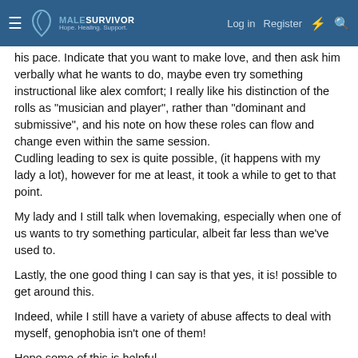MaleSurvivor — Hope. Healing. Support. | Log in | Register
his pace. Indicate that you want to make love, and then ask him verbally what he wants to do, maybe even try something instructional like alex comfort; I really like his distinction of the rolls as "musician and player", rather than "dominant and submissive", and his note on how these roles can flow and change even within the same session.
Cudling leading to sex is quite possible, (it happens with my lady a lot), however for me at least, it took a while to get to that point.
My lady and I still talk when lovemaking, especially when one of us wants to try something particular, albeit far less than we've used to.
Lastly, the one good thing I can say is that yes, it is! possible to get around this.
Indeed, while I still have a variety of abuse affects to deal with myself, genophobia isn't one of them!
Hope some of this is helpful.